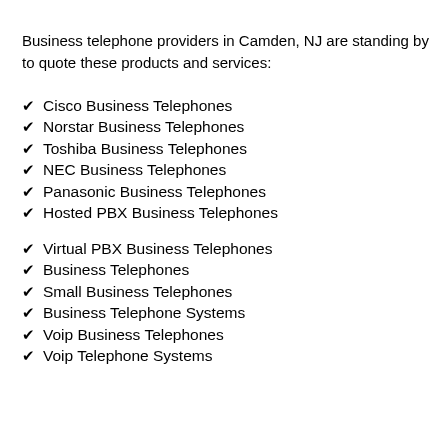Business telephone providers in Camden, NJ are standing by to quote these products and services:
Cisco Business Telephones
Norstar Business Telephones
Toshiba Business Telephones
NEC Business Telephones
Panasonic Business Telephones
Hosted PBX Business Telephones
Virtual PBX Business Telephones
Business Telephones
Small Business Telephones
Business Telephone Systems
Voip Business Telephones
Voip Telephone Systems